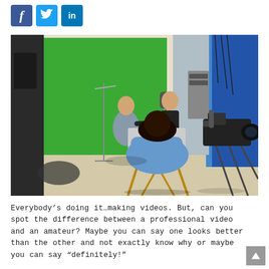[Figure (logo): Social media share icons: Facebook (blue square with f), Twitter (light blue square with bird), LinkedIn (blue square with 'in')]
[Figure (photo): A video production studio with a green screen background. Three people are visible: a seated man in a light shirt, a standing bald man in black, and a woman with dark hair in a blue shirt seated in a director's chair in the foreground. A professional video camera on a tripod is visible on the right side. Studio lighting equipment and cables are visible.]
Everybody's doing it…making videos. But, can you spot the difference between a professional video and an amateur? Maybe you can say one looks better than the other and not exactly know why or maybe you can say "definitely!"